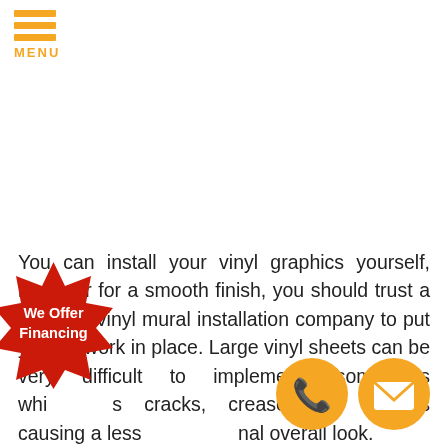MENU
You can install your vinyl graphics yourself, however for a smooth finish, you should trust a qualified vinyl mural installation company to put your artwork in place. Large vinyl sheets can be very difficult to implement, sometimes which causes cracks, creases, or crinkles causing a less professional overall look. Furthermore, should there be any challenges that come up when we perform our expert installation, including damage to your wall mural, we will change it free of
[Figure (infographic): Red starburst badge with text 'We Offer Financing']
[Figure (infographic): Orange circle phone button icon]
[Figure (infographic): Orange circle email/envelope button icon]